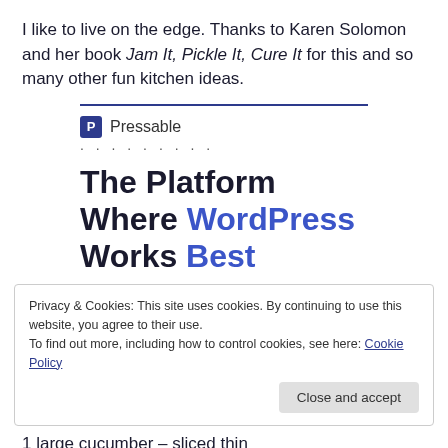I like to live on the edge. Thanks to Karen Solomon and her book Jam It, Pickle It, Cure It for this and so many other fun kitchen ideas.
[Figure (other): Pressable advertisement with logo and tagline 'The Platform Where WordPress Works Best']
Privacy & Cookies: This site uses cookies. By continuing to use this website, you agree to their use.
To find out more, including how to control cookies, see here: Cookie Policy
1 large cucumber – sliced thin